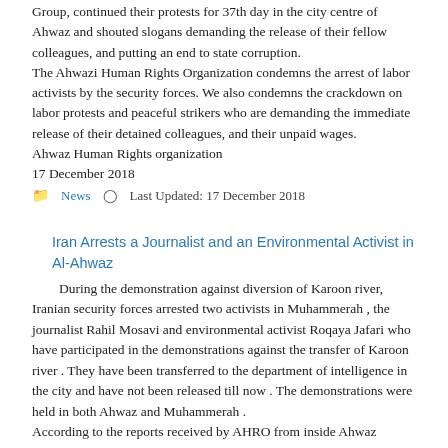Group, continued their protests for 37th day in the city centre of Ahwaz and shouted slogans demanding the release of their fellow colleagues, and putting an end to state corruption.
The Ahwazi Human Rights Organization condemns the arrest of labor activists by the security forces. We also condemns the crackdown on labor protests and peaceful strikers who are demanding the immediate release of their detained colleagues, and their unpaid wages.
Ahwaz Human Rights organization
17 December 2018
News   Last Updated: 17 December 2018
Iran Arrests a Journalist and an Environmental Activist in Al-Ahwaz
During the demonstration against diversion of Karoon river, Iranian security forces arrested two activists in Muhammerah , the journalist Rahil Mosavi and environmental activist Roqaya Jafari who have participated in the demonstrations against the transfer of Karoon river . They have been transferred to the department of intelligence in the city and have not been released till now . The demonstrations were held in both Ahwaz and Muhammerah .
According to the reports received by AHRO from inside Ahwaz ,Roqaya Jafari was arrested in her home by intelligence forces after the end of the demonstration last Thursday.
Despite the pressures she faced from the intelligence department and the municipality concerning criticising Rohani’s letter about the water transfer ,she participated in the action which resulted in forming a security file on Ms.Jafari and her arrest for 4 consecutive days by the intelligence services .